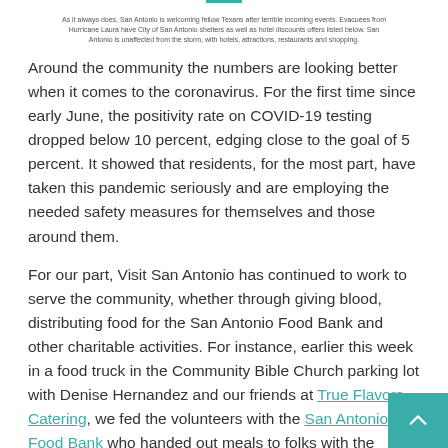As it always does, San Antonio is welcoming fellow Texans after terrible incoming events. Evacuees from Hurricane Laura have City of San Antonio shelters as well as hotel discounts offers listed below. San Antonio is unaffected from the storm, with hotels, attractions, restaurants and shopping.
Around the community the numbers are looking better when it comes to the coronavirus. For the first time since early June, the positivity rate on COVID-19 testing dropped below 10 percent, edging close to the goal of 5 percent. It showed that residents, for the most part, have taken this pandemic seriously and are employing the needed safety measures for themselves and those around them.
For our part, Visit San Antonio has continued to work to serve the community, whether through giving blood, distributing food for the San Antonio Food Bank and other charitable activities. For instance, earlier this week in a food truck in the Community Bible Church parking lot with Denise Hernandez and our friends at True Flavors Catering, we fed the volunteers with the San Antonio Food Bank who handed out meals to folks with the hospitality industry.